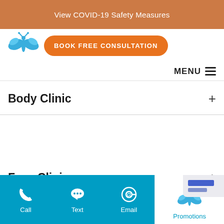View COVID-19 Safety Measures
[Figure (logo): Blue butterfly/wings logo icon]
BOOK FREE CONSULTATION
MENU
Body Clinic
Face Clinic
Call  Text  Email  Promotions